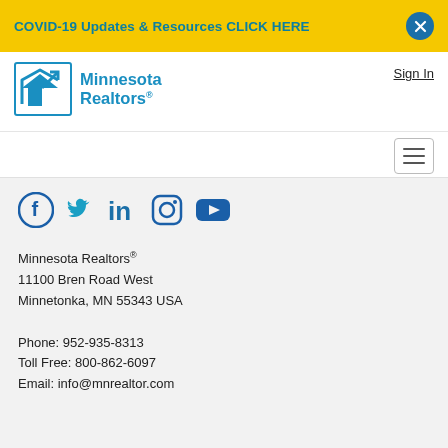COVID-19 Updates & Resources CLICK HERE
[Figure (logo): Minnesota Realtors logo — blue geometric house/arrow icon with 'Minnesota Realtors®' text in blue]
Sign In
[Figure (other): Hamburger menu button (three horizontal lines)]
[Figure (other): Social media icons: Facebook, Twitter, LinkedIn, Instagram, YouTube]
Minnesota Realtors®
11100 Bren Road West
Minnetonka, MN 55343 USA

Phone: 952-935-8313
Toll Free: 800-862-6097
Email: info@mnrealtor.com